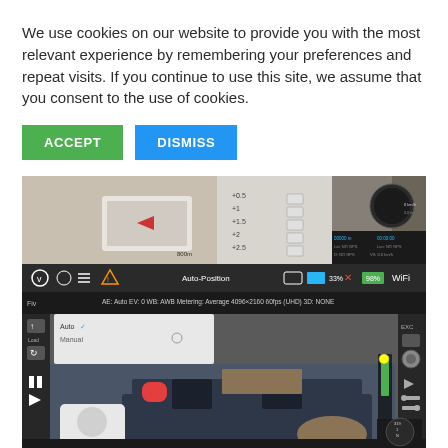We use cookies on our website to provide you with the most relevant experience by remembering your preferences and repeat visits. If you continue to use this site, we assume that you consent to the use of cookies.
[Figure (screenshot): Two buttons: green ACCEPT button and blue DISMISS button]
[Figure (screenshot): Two screenshot images of a drone camera app interface showing indoor scenes with a cat and living room, with camera controls and GPS overlay information]
[Figure (screenshot): Bottom screenshot showing drone app interface with Auto-Position mode, camera settings panel showing Auto/Manual metering options, view of living room with sofa and a dog]